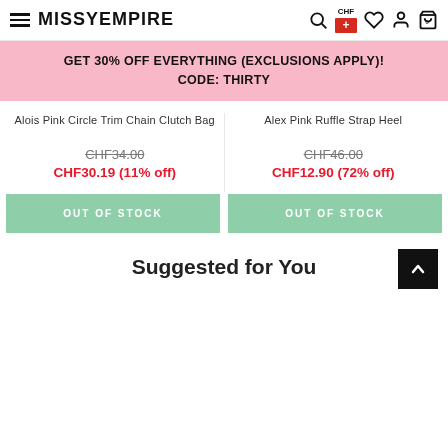MISSYEMPIRE — CHF navigation header
GET 30% OFF EVERYTHING (EXCLUSIONS APPLY)! CODE: THIRTY
Alois Pink Circle Trim Chain Clutch Bag
CHF34.00
CHF30.19 (11% off)
Alex Pink Ruffle Strap Heel
CHF46.00
CHF12.90 (72% off)
OUT OF STOCK
OUT OF STOCK
Suggested for You